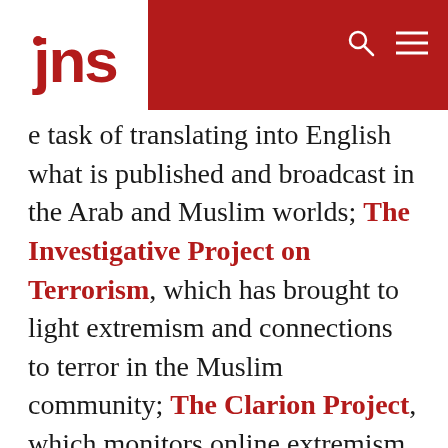jns
e task of translating into English what is published and broadcast in the Arab and Muslim worlds; The Investigative Project on Terrorism, which has brought to light extremism and connections to terror in the Muslim community; The Clarion Project, which monitors online extremism (and whose advisory board is partially composed of leading moderate Muslims).
CAIR also opposes the existence of politically conservative organizations like the David Horowitz Freedom Center and the Christian Broadcasting Network, among the...